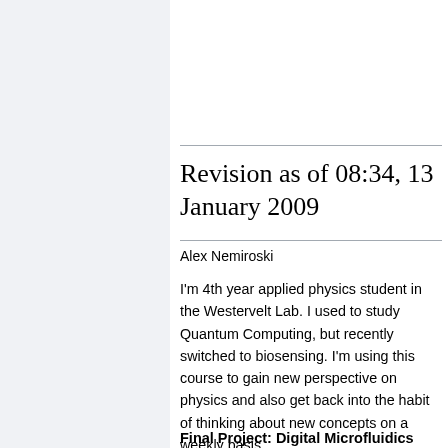[Figure (other): Blue sidebar box with bold text: Using Multilayer Printed Circuit''' Microelectromechanical Systems (2008)]
Revision as of 08:34, 13 January 2009
Alex Nemiroski
I'm 4th year applied physics student in the Westervelt Lab. I used to study Quantum Computing, but recently switched to biosensing. I'm using this course to gain new perspective on physics and also get back into the habit of thinking about new concepts on a weekly basis.
Final Project: Digital Microfluidics